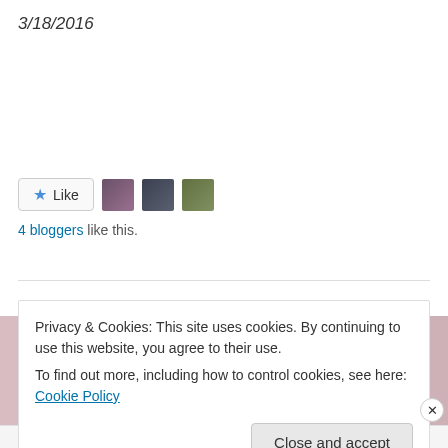3/18/2016
[Figure (other): Like button with star icon and three blogger avatar photos]
4 bloggers like this.
Privacy & Cookies: This site uses cookies. By continuing to use this website, you agree to their use.
To find out more, including how to control cookies, see here: Cookie Policy
Close and accept
Advertisements